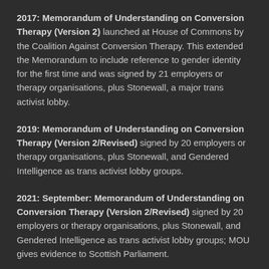2017: Memorandum of Understanding on Conversion Therapy (Version 2) launched at House of Commons by the Coalition Against Conversion Therapy. This extended the Memorandum to include reference to gender identity for the first time and was signed by 21 employers or therapy organisations, plus Stonewall, a major trans activist lobby.
2019: Memorandum of Understanding on Conversion Therapy (Version 2/Revised) signed by 20 employers or therapy organisations, plus Stonewall, and Gendered Intelligence as trans activist lobby groups.
2021: September: Memorandum of Understanding on Conversion Therapy (Version 2/Revised) signed by 20 employers or therapy organisations, plus Stonewall, and Gendered Intelligence as trans activist lobby groups; MOU gives evidence to Scottish Parliament.